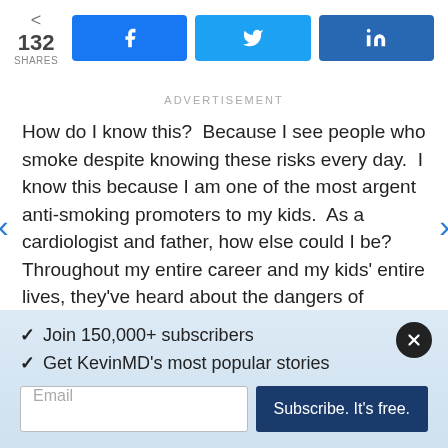[Figure (infographic): Social share bar showing 132 SHARES with Facebook, Twitter, and LinkedIn share buttons]
ADVERTISEMENT
How do I know this?  Because I see people who smoke despite knowing these risks every day.  I know this because I am one of the most argent anti-smoking promoters to my kids.  As a cardiologist and father, how else could I be?  Throughout my entire career and my kids' entire lives, they've heard about the dangers of smoking, the addictive potential of
[Figure (infographic): Newsletter subscription overlay with checkmarks: Join 150,000+ subscribers, Get KevinMD's most popular stories, email input field and Subscribe. It's free. button]